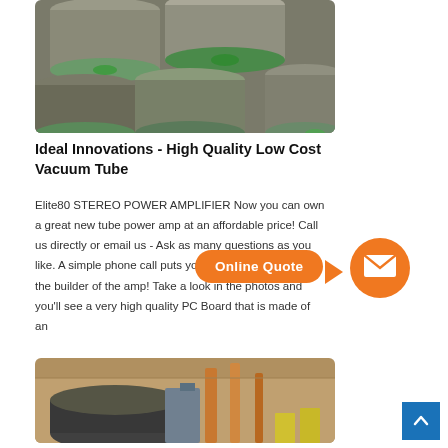[Figure (photo): Stacked metal round bars/tubes with green ends, industrial setting]
Ideal Innovations - High Quality Low Cost Vacuum Tube
Elite80 STEREO POWER AMPLIFIER Now you can own a great new tube power amp at an affordable price! Call us directly or email us - Ask as many questions as you like. A simple phone call puts you directly in touch with the builder of the amp! Take a look in the photos and you'll see a very high quality PC Board that is made of an
[Figure (infographic): Orange Online Quote speech bubble with arrow pointing to orange mail circle icon]
[Figure (photo): Industrial equipment inside a facility with copper/metal components, tubing and machinery]